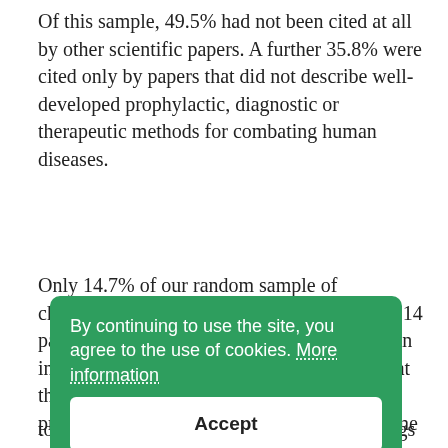Of this sample, 49.5% had not been cited at all by other scientific papers. A further 35.8% were cited only by papers that did not describe well-developed prophylactic, diagnostic or therapeutic methods for combating human diseases.
Only 14.7% of our random sample of chimpanzee studies were cited – specifically, 14 papers were cited by 27 subsequent papers. An in-depth analysis of these studies revealed that the chimpanzee experiments had contributed precious little, if anything at all, to the outcome of those papers reporting advances in human clinical practice.
For example, the chimpanzee studies had been conducted concurrently to human studies or to “confirm” previous human investigations. He results from the conflicted with results from non-chimpanzee primates or in human trials; the cited chimpanzee studies were peripheral to the human clinical findings with no direct relations to current practice; or, the chimpanzee findings were purely
By continuing to use the site, you agree to the use of cookies. More information
Accept